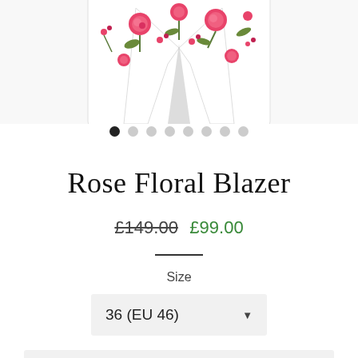[Figure (photo): Product photo of a white floral blazer with pink roses and green leaves pattern, shown from the front, cropped at top portion.]
Rose Floral Blazer
£149.00 £99.00
Size
36 (EU 46)
SOLD OUT